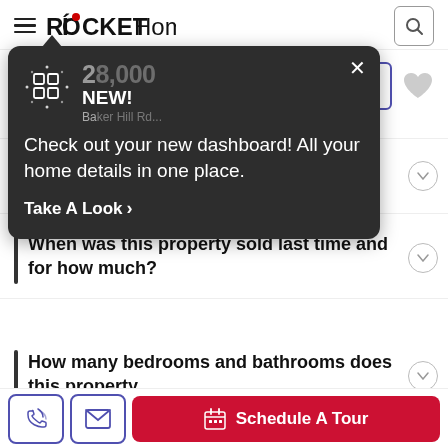ROCKET Homes
[Figure (screenshot): Rocket Homes app tooltip popup over property listing page showing 'NEW! Check out your new dashboard! All your home details in one place. Take A Look >']
NEW!
Check out your new dashboard! All your home details in one place.
Take A Look >
What is the annual property tax for this property?
When was this property sold last time and for how much?
How many bedrooms and bathrooms does this property
Schedule A Tour